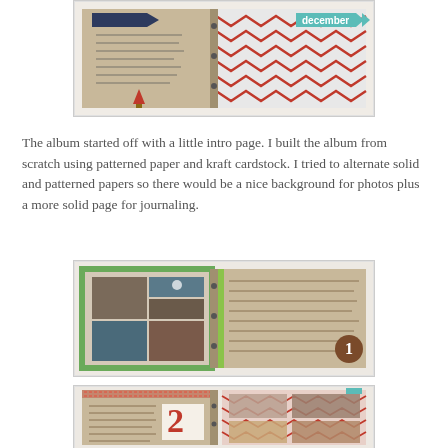[Figure (photo): Scrapbook album spread showing a kraft cardstock and patterned paper album with red and white chevron patterns, decorative banners, and handwritten journaling cards, viewed from above.]
The album started off with a little intro page. I built the album from scratch using patterned paper and kraft cardstock. I tried to alternate solid and patterned papers so there would be a nice background for photos plus a more solid page for journaling.
[Figure (photo): Scrapbook album spread page 1 showing holiday photos of people, a kraft cardstock journaling page with cursive handwriting, green patterned border paper, and a circular number 1 embellishment.]
[Figure (photo): Scrapbook album spread page 2 showing a kraft cardstock journaling page with cursive handwriting, red chevron patterned paper, food/baking photos, and a large number 2 embellishment.]